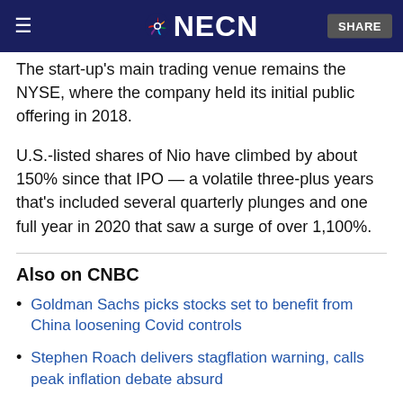NECN
The start-up's main trading venue remains the NYSE, where the company held its initial public offering in 2018.
U.S.-listed shares of Nio have climbed by about 150% since that IPO — a volatile three-plus years that's included several quarterly plunges and one full year in 2020 that saw a surge of over 1,100%.
Also on CNBC
Goldman Sachs picks stocks set to benefit from China loosening Covid controls
Stephen Roach delivers stagflation warning, calls peak inflation debate absurd
Bitcoin production roars back in China despite Beijing's